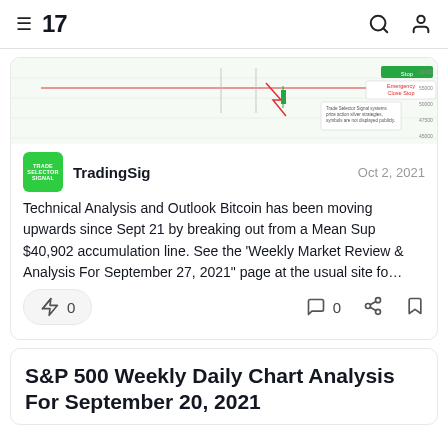≡ 17 (TradingView logo)
[Figure (screenshot): Bitcoin chart showing price movement with red arrows and annotation labels for 'Stop' and 'Emergency Close Stop' levels on a green/white background chart]
Tradingsig    Oct 2, 2021
Technical Analysis and Outlook Bitcoin has been moving upwards since Sept 21 by breaking out from a Mean Sup $40,902 accumulation line. See the 'Weekly Market Review & Analysis For September 27, 2021" page at the usual site fo…
🚀 0    💬 0
S&P 500 Weekly Daily Chart Analysis For September 20, 2021